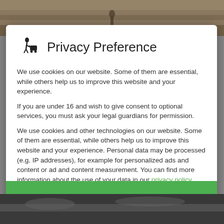[Figure (illustration): Background photo top strip showing sandy/earthy outdoor scene]
Privacy Preference
We use cookies on our website. Some of them are essential, while others help us to improve this website and your experience.
If you are under 16 and wish to give consent to optional services, you must ask your legal guardians for permission.
We use cookies and other technologies on our website. Some of them are essential, while others help us to improve this website and your experience. Personal data may be processed (e.g. IP addresses), for example for personalized ads and content or ad and content measurement. You can find more information about the use of your data in our privacy policy. You can revoke or adjust your selection at any time under Settings.
Essential
Statistics
External Media
[Figure (photo): Background photo bottom strip showing dark outdoor/landscape scene]